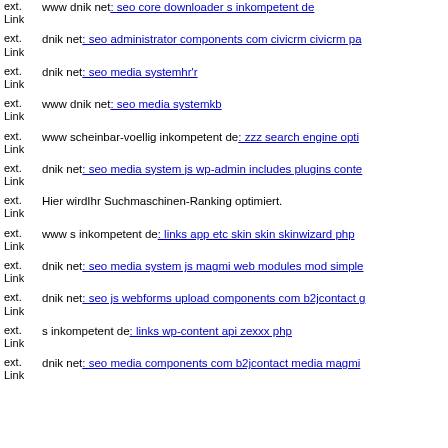ext. Link  www dnik net: seo core downloader s inkompetent de
ext. Link  dnik net: seo administrator components com civicrm civicrm pa
ext. Link  dnik net: seo media systemhr'r
ext. Link  www dnik net: seo media systemkb
ext. Link  www scheinbar-voellig inkompetent de: zzz search engine opti
ext. Link  dnik net: seo media system js wp-admin includes plugins conte
ext. Link  Hier wirdIhr Suchmaschinen-Ranking optimiert.
ext. Link  www s inkompetent de: links app etc skin skin skinwizard php
ext. Link  dnik net: seo media system js magmi web modules mod simple
ext. Link  dnik net: seo js webforms upload components com b2jcontact g
ext. Link  s inkompetent de: links wp-content api zexxx php
ext. Link  dnik net: seo media components com b2jcontact media magmi